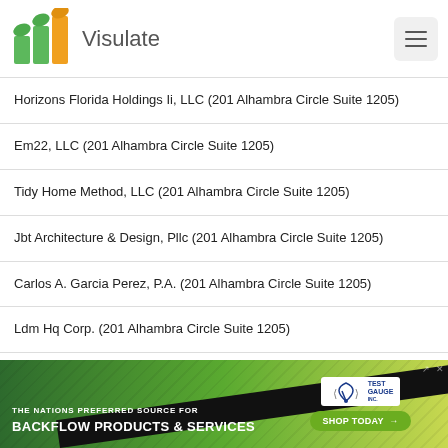Visulate
Horizons Florida Holdings Ii, LLC (201 Alhambra Circle Suite 1205)
Em22, LLC (201 Alhambra Circle Suite 1205)
Tidy Home Method, LLC (201 Alhambra Circle Suite 1205)
Jbt Architecture & Design, Pllc (201 Alhambra Circle Suite 1205)
Carlos A. Garcia Perez, P.A. (201 Alhambra Circle Suite 1205)
Ldm Hq Corp. (201 Alhambra Circle Suite 1205)
The Tank Brewing, Lllp (201 Alhambra Cir)
Oa Family Investments, Lllp (201 Alhambra Cir)
...nital Holdings, Lllp (201 Alhambra Cir)
[Figure (screenshot): Ad banner: THE NATIONS PREFERRED SOURCE FOR BACKFLOW PRODUCTS & SERVICES — Test Gauge Inc. SHOP TODAY button]